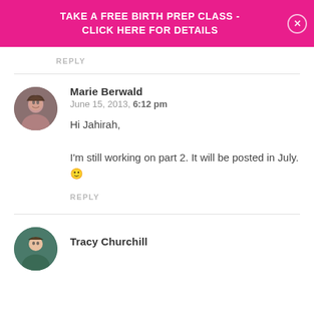TAKE A FREE BIRTH PREP CLASS - CLICK HERE FOR DETAILS
REPLY
Marie Berwald
June 15, 2013, 6:12 pm
Hi Jahirah,

I'm still working on part 2. It will be posted in July. 🙂

REPLY
Tracy Churchill